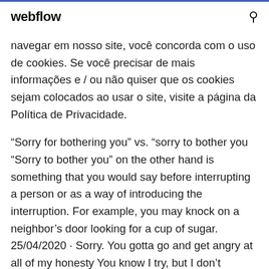webflow
navegar em nosso site, você concorda com o uso de cookies. Se você precisar de mais informações e / ou não quiser que os cookies sejam colocados ao usar o site, visite a página da Política de Privacidade.
“Sorry for bothering you” vs. “sorry to bother you “Sorry to bother you” on the other hand is something that you would say before interrupting a person or as a way of introducing the interruption. For example, you may knock on a neighbor’s door looking for a cup of sugar. 25/04/2020 · Sorry. You gotta go and get angry at all of my honesty You know I try, but I don’t